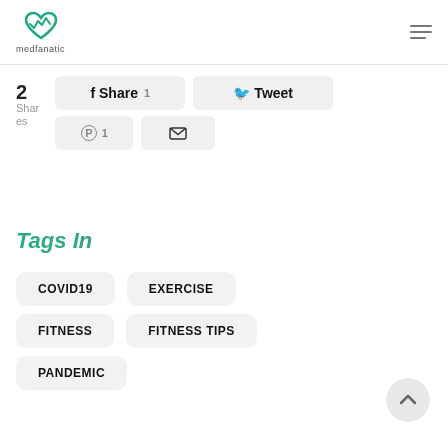medfanatic
2 Shares
f Share 1  Tweet  Pinterest 1  Email
Tags In
COVID19
EXERCISE
FITNESS
FITNESS TIPS
PANDEMIC